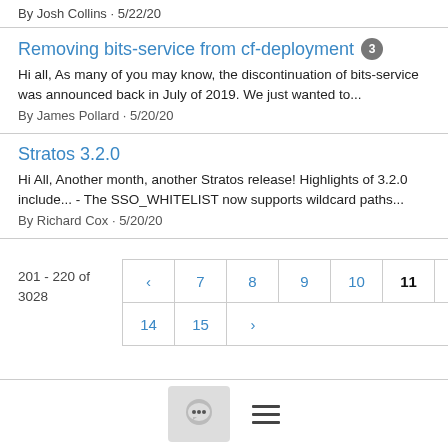By Josh Collins · 5/22/20
Removing bits-service from cf-deployment [3]
Hi all, As many of you may know, the discontinuation of bits-service was announced back in July of 2019. We just wanted to...
By James Pollard · 5/20/20
Stratos 3.2.0
Hi All, Another month, another Stratos release! Highlights of 3.2.0 include... - The SSO_WHITELIST now supports wildcard paths...
By Richard Cox · 5/20/20
201 - 220 of 3028
[Figure (other): Pagination control showing pages: < 7 8 9 10 11 12 13 / 14 15 > with page 11 active/bold]
[Figure (other): Footer bar with chat bubble icon button and hamburger menu icon]